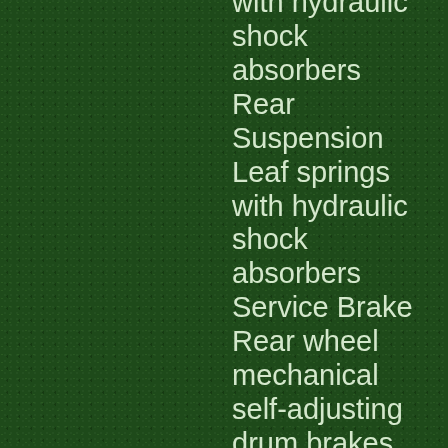with hydraulic shock absorbers
Rear Suspension Leaf springs with hydraulic shock absorbers
Service Brake Rear wheel mechanical self-adjusting drum brakes
Parking Brake Self-compensating single-point engagement
Standard Features
Front Brush Guard
Rear-Facing Seat with Cargo Deck Conversion
Fuel Gauge (gas only)